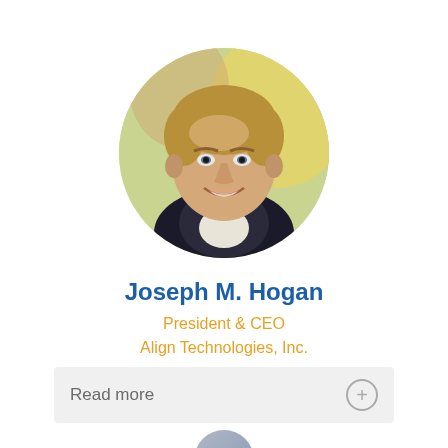[Figure (photo): Circular headshot photo of Joseph M. Hogan, a middle-aged man with light brown hair, smiling, wearing a dark blazer, with a blurred colorful background.]
Joseph M. Hogan
President & CEO
Align Technologies, Inc.
Read more